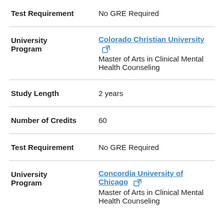| Field | Value |
| --- | --- |
| Test Requirement | No GRE Required |
| University
Program | Colorado Christian University
Master of Arts in Clinical Mental Health Counseling |
| Study Length | 2 years |
| Number of Credits | 60 |
| Test Requirement | No GRE Required |
| University
Program | Concordia University of Chicago
Master of Arts in Clinical Mental Health Counseling |